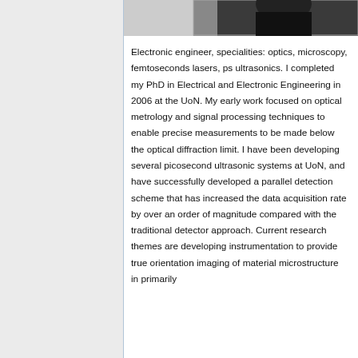[Figure (photo): Partial photograph of a person, cropped at top of page]
Electronic engineer, specialities: optics, microscopy, femtoseconds lasers, ps ultrasonics. I completed my PhD in Electrical and Electronic Engineering in 2006 at the UoN. My early work focused on optical metrology and signal processing techniques to enable precise measurements to be made below the optical diffraction limit. I have been developing several picosecond ultrasonic systems at UoN, and have successfully developed a parallel detection scheme that has increased the data acquisition rate by over an order of magnitude compared with the traditional detector approach. Current research themes are developing instrumentation to provide true orientation imaging of material microstructure in primarily